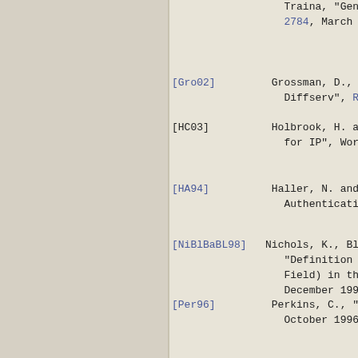Traina, "Generic... 2784, March 2000
[Gro02] Grossman, D., "N... Diffserv", RFC 3...
[HC03] Holbrook, H. and ... for IP", Work in...
[HA94] Haller, N. and R... Authentication",...
[NiBlBaBL98] Nichols, K., Bla... "Definition of t... Field) in the IP... December 1998.
[Per96] Perkins, C., "IP... October 1996.
[RaFlBl01] Ramakrishnan, K.... Addition of Expl... IP", RFC 3168, S...
[RFC2401] Kent, S. and R.... the Internet Pro...